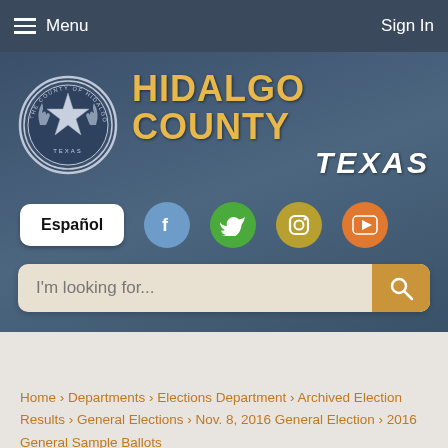Menu  Sign In
[Figure (screenshot): Hidalgo County Texas government website header with county seal, social media icons, search bar, and navigation breadcrumb]
Español
I'm looking for...
Home › Departments › Elections Department › Archived Election Results › General Elections › Nov. 8, 2016 General Election › 2016 General Sample Ballots